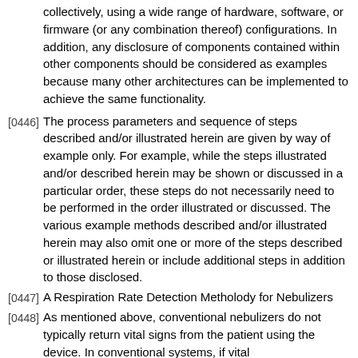collectively, using a wide range of hardware, software, or firmware (or any combination thereof) configurations. In addition, any disclosure of components contained within other components should be considered as examples because many other architectures can be implemented to achieve the same functionality.
[0446] The process parameters and sequence of steps described and/or illustrated herein are given by way of example only. For example, while the steps illustrated and/or described herein may be shown or discussed in a particular order, these steps do not necessarily need to be performed in the order illustrated or discussed. The various example methods described and/or illustrated herein may also omit one or more of the steps described or illustrated herein or include additional steps in addition to those disclosed.
[0447] A Respiration Rate Detection Metholody for Nebulizers
[0448] As mentioned above, conventional nebulizers do not typically return vital signs from the patient using the device. In conventional systems, if vital